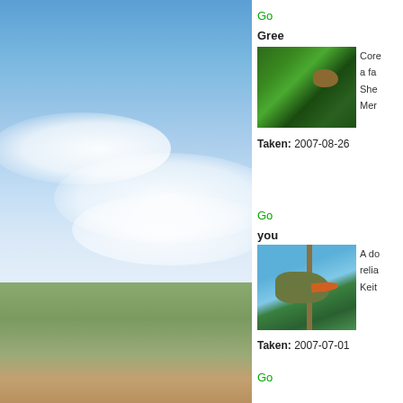[Figure (photo): Landscape photo showing blue sky with white clouds and green hills in the foreground]
Go
Gree
[Figure (photo): Close-up of a bird partially hidden in green foliage/tree]
Core a fa She Mer
Taken: 2007-08-26
Go
you
[Figure (photo): Close-up of a bird with an orange beak perched on branches with blue sky background]
A do relia Keit
Taken: 2007-07-01
Go